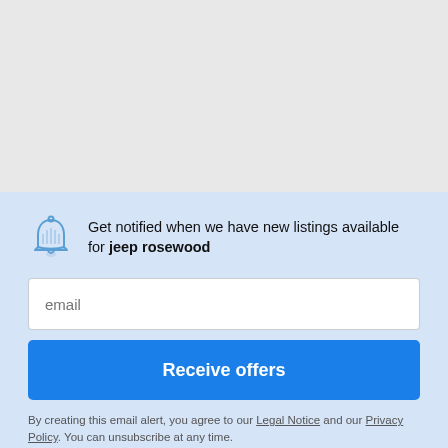[Figure (illustration): Gray background placeholder area at top of page]
Get notified when we have new listings available for jeep rosewood
email
Receive offers
By creating this email alert, you agree to our Legal Notice and our Privacy Policy. You can unsubscribe at any time.